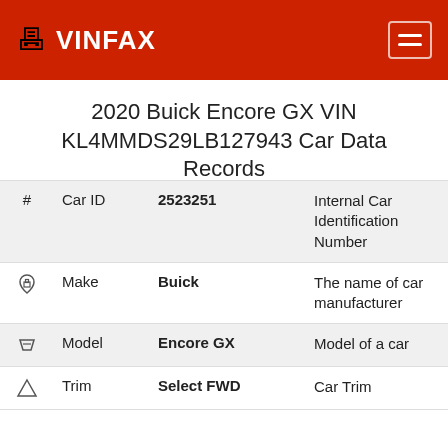VINFAX
2020 Buick Encore GX VIN KL4MMDS29LB127943 Car Data Records
| # | Field | Value | Description |
| --- | --- | --- | --- |
| # | Car ID | 2523251 | Internal Car Identification Number |
| home | Make | Buick | The name of car manufacturer |
| tag | Model | Encore GX | Model of a car |
| triangle | Trim | Select FWD | Car Trim |